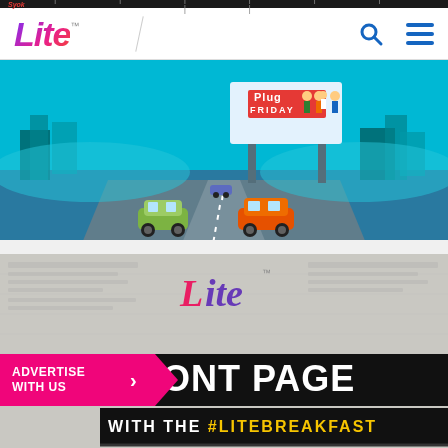Lite (logo) with search and menu icons
[Figure (illustration): Animated illustration of a billboard on a highway showing 'Plug Friday' with cartoon characters (workers, professionals). Two cartoon cars (green and orange) drive on a blue highway with city skyline in the background.]
[Figure (illustration): Promotional graphic on a textured newspaper background. Shows the 'Lite' logo at top center, then bold black text 'FRONT PAGE' on a black bar, followed by a black bar with white text 'WITH THE #LITEBREAKFAST'. An 'ADVERTISE WITH US' pink arrow button overlays the bottom-left.]